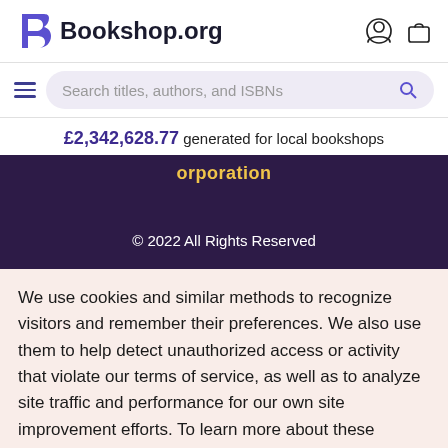Bookshop.org
£2,342,628.77 generated for local bookshops
Corporation
© 2022 All Rights Reserved
We use cookies and similar methods to recognize visitors and remember their preferences. We also use them to help detect unauthorized access or activity that violate our terms of service, as well as to analyze site traffic and performance for our own site improvement efforts. To learn more about these methods, including how to disable them view our